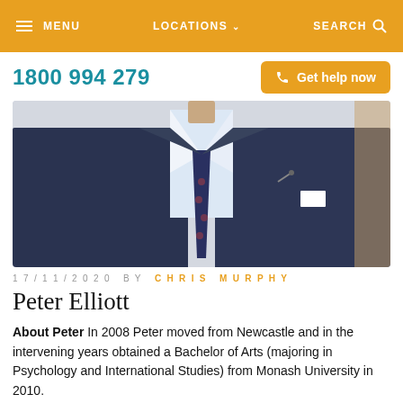MENU   LOCATIONS   SEARCH
1800 994 279
Get help now
[Figure (photo): Close-up photo of a man in a navy suit jacket with a patterned tie and white pocket square, with a lapel pin visible.]
17/11/2020 BY CHRIS MURPHY
Peter Elliott
About Peter In 2008 Peter moved from Newcastle and in the intervening years obtained a Bachelor of Arts (majoring in Psychology and International Studies) from Monash University in 2010.